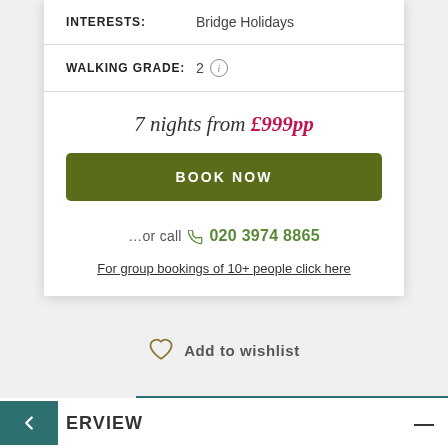INTERESTS: Bridge Holidays
WALKING GRADE: 2
7 nights from £999pp
BOOK NOW
…or call  020 3974 8865
For group bookings of 10+ people click here
Add to wishlist
OVERVIEW